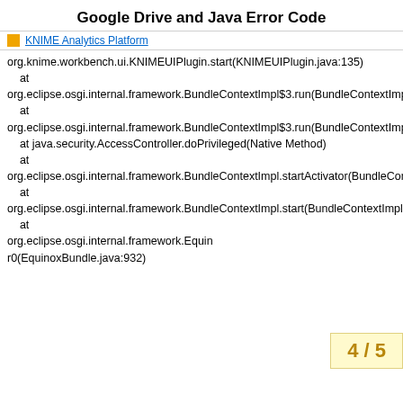Google Drive and Java Error Code
KNIME Analytics Platform
org.knime.workbench.ui.KNIMEUIPlugin.start(KNIMEUIPlugin.java:135)
    at
org.eclipse.osgi.internal.framework.BundleContextImpl$3.run(BundleContextImpl.java:774)
    at
org.eclipse.osgi.internal.framework.BundleContextImpl$3.run(BundleContextImpl.java:1)
    at java.security.AccessController.doPrivileged(Native Method)
    at
org.eclipse.osgi.internal.framework.BundleContextImpl.startActivator(BundleContextImpl.java:767)
    at
org.eclipse.osgi.internal.framework.BundleContextImpl.start(BundleContextImpl.java:724)
    at
org.eclipse.osgi.internal.framework.Equinoxr0(EquinoxBundle.java:932)
4 / 5